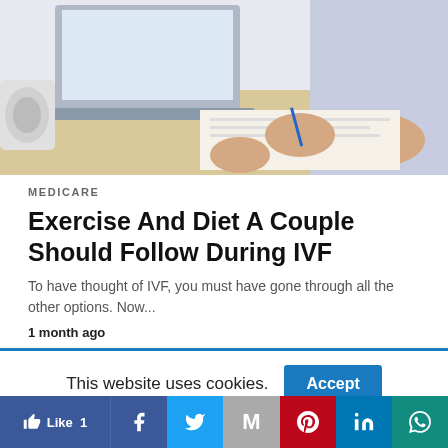[Figure (photo): Doctor or professional at a desk with a laptop, reviewing documents with a patient, wooden desk surface visible]
MEDICARE
Exercise And Diet A Couple Should Follow During IVF
To have thought of IVF, you must have gone through all the other options. Now...
1 month ago
This website uses cookies.
Accept
Like 1